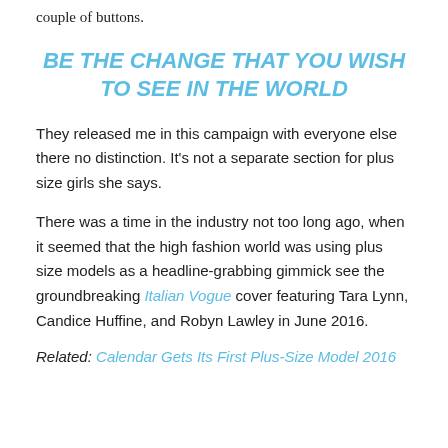couple of buttons.
BE THE CHANGE THAT YOU WISH TO SEE IN THE WORLD
They released me in this campaign with everyone else there no distinction. It's not a separate section for plus size girls she says.
There was a time in the industry not too long ago, when it seemed that the high fashion world was using plus size models as a headline-grabbing gimmick see the groundbreaking Italian Vogue cover featuring Tara Lynn, Candice Huffine, and Robyn Lawley in June 2016.
Related: Calendar Gets Its First Plus-Size Model 2016